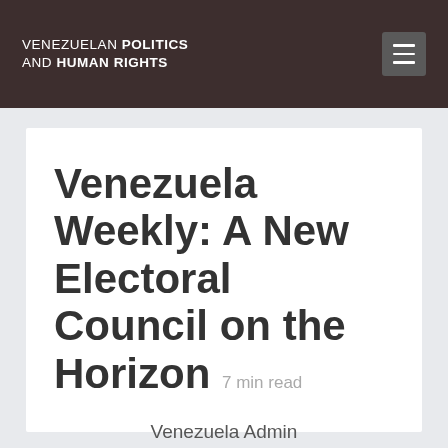VENEZUELAN POLITICS AND HUMAN RIGHTS
Venezuela Weekly: A New Electoral Council on the Horizon  7 min read
Venezuela Admin
Apr 30, 2021 | Venezuela Update